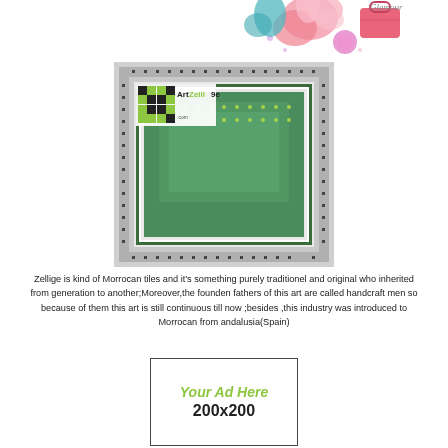[Figure (illustration): Decorative top banner with fashion accessories including pink roses, handbag, and sparkly accessories on white background with 'Glamour' style text]
[Figure (photo): Aerial view of a Moroccan zellige tile swimming pool or fountain with green and white geometric mosaic tile pattern, featuring ArtZellige logo watermark in upper left corner]
Zellige is kind of Morrocan tiles and it's something purely traditionel and original who inherited from generation to another;Moreover,the founden fathers of this art are called handcraft men so because of them this art is still continuous till now ;besides ,this industry was introduced to Morrocan from andalusia(Spain)
[Figure (illustration): Advertisement placeholder box with green italic text 'Your Ad Here' and bold black text '200x200']